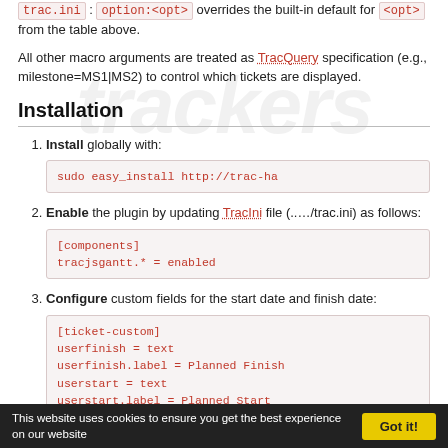trac.ini : option:<opt> overrides the built-in default for <opt> from the table above.
All other macro arguments are treated as TracQuery specification (e.g., milestone=MS1|MS2) to control which tickets are displayed.
Installation
1. Install globally with: sudo easy_install http://trac-ha
2. Enable the plugin by updating TracIni file (..…/trac.ini) as follows: [components] tracjsgantt.* = enabled
3. Configure custom fields for the start date and finish date: [ticket-custom] userfinish = text userfinish.label = Planned Finish userstart = text
This website uses cookies to ensure you get the best experience on our website